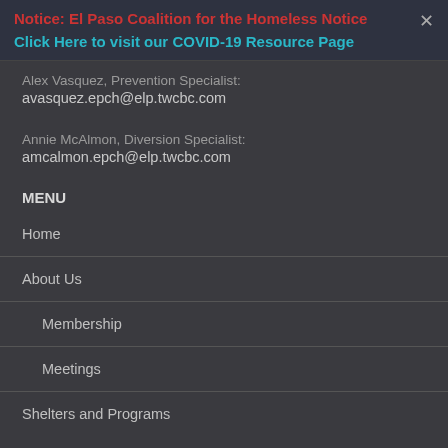Notice: El Paso Coalition for the Homeless Notice
Click Here to visit our COVID-19 Resource Page
Alex Vasquez, Prevention Specialist:
avasquez.epch@elp.twcbc.com
Annie McAlmon, Diversion Specialist:
amcalmon.epch@elp.twcbc.com
MENU
Home
About Us
Membership
Meetings
Shelters and Programs